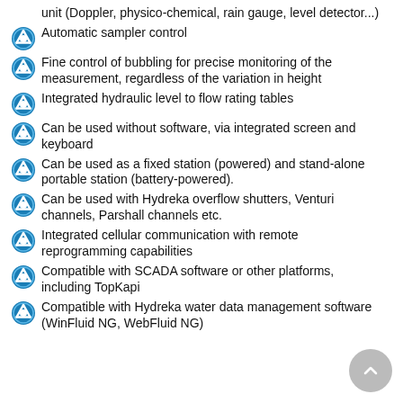unit (Doppler, physico-chemical, rain gauge, level detector...)
Automatic sampler control
Fine control of bubbling for precise monitoring of the measurement, regardless of the variation in height
Integrated hydraulic level to flow rating tables
Can be used without software, via integrated screen and keyboard
Can be used as a fixed station (powered) and stand-alone portable station (battery-powered).
Can be used with Hydreka overflow shutters, Venturi channels, Parshall channels etc.
Integrated cellular communication with remote reprogramming capabilities
Compatible with SCADA software or other platforms, including TopKapi
Compatible with Hydreka water data management software (WinFluid NG, WebFluid NG)